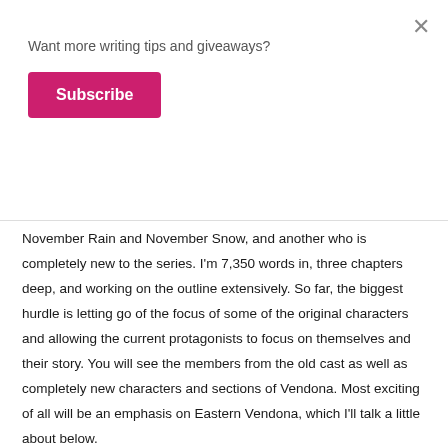Want more writing tips and giveaways?
Subscribe
November Rain and November Snow, and another who is completely new to the series. I'm 7,350 words in, three chapters deep, and working on the outline extensively. So far, the biggest hurdle is letting go of the focus of some of the original characters and allowing the current protagonists to focus on themselves and their story. You will see the members from the old cast as well as completely new characters and sections of Vendona. Most exciting of all will be an emphasis on Eastern Vendona, which I'll talk a little about below.
What I'm Publishing: